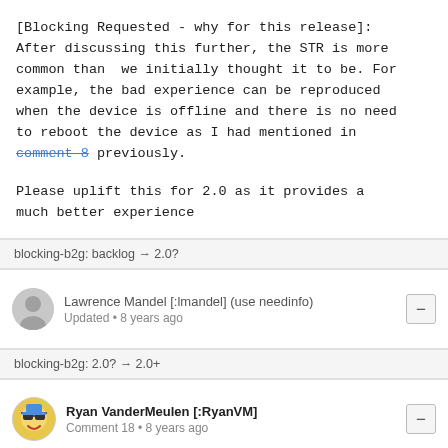[Blocking Requested - why for this release]: After discussing this further, the STR is more common than  we initially thought it to be. For example, the bad experience can be reproduced when the device is offline and there is no need to reboot the device as I had mentioned in comment 8 previously.

Please uplift this for 2.0 as it provides a much better experience
blocking-b2g: backlog → 2.0?
Lawrence Mandel [:lmandel] (use needinfo)
Updated • 8 years ago
blocking-b2g: 2.0? → 2.0+
Ryan VanderMeulen [:RyanVM]
Comment 18 • 8 years ago